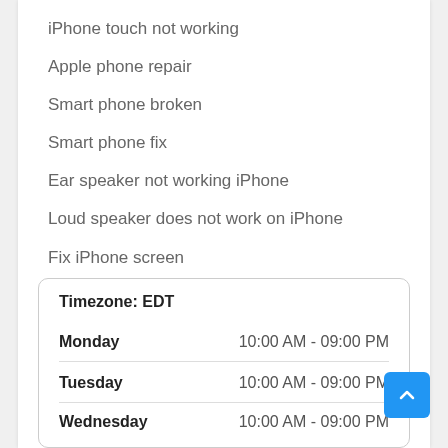iPhone touch not working
Apple phone repair
Smart phone broken
Smart phone fix
Ear speaker not working iPhone
Loud speaker does not work on iPhone
Fix iPhone screen
Disable iPhone fix
iPhone fix
Cracked screen
|  |  |
| --- | --- |
| Timezone: EDT |  |
| Monday | 10:00 AM - 09:00 PM |
| Tuesday | 10:00 AM - 09:00 PM |
| Wednesday | 10:00 AM - 09:00 PM |